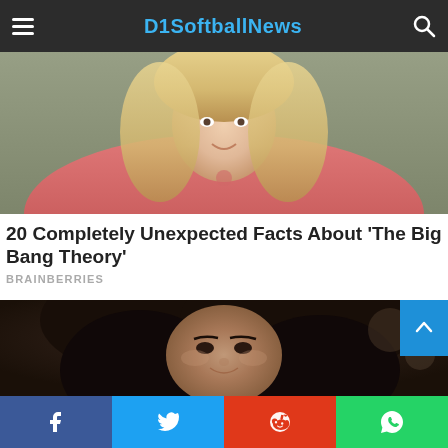D1SoftballNews
[Figure (photo): Blonde woman in pink/red t-shirt, upper body visible, indoor setting]
20 Completely Unexpected Facts About 'The Big Bang Theory'
BRAINBERRIES
[Figure (photo): Dark-haired woman with curly hair, close-up portrait]
Facebook | Twitter | Reddit | WhatsApp share buttons